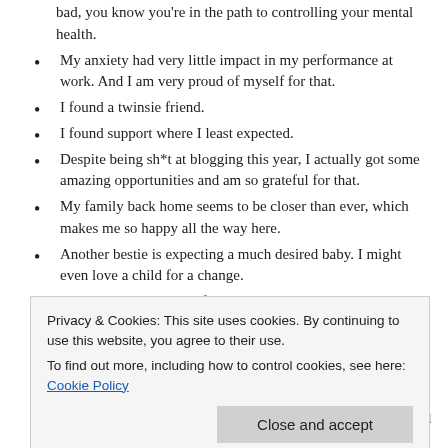bad, you know you're in the path to controlling your mental health.
My anxiety had very little impact in my performance at work. And I am very proud of myself for that.
I found a twinsie friend.
I found support where I least expected.
Despite being sh*t at blogging this year, I actually got some amazing opportunities and am so grateful for that.
My family back home seems to be closer than ever, which makes me so happy all the way here.
Another bestie is expecting a much desired baby. I might even love a child for a change.
I rediscovered my love for glitter. Ok, I know, but I had to add
Privacy & Cookies: This site uses cookies. By continuing to use this website, you agree to their use.
To find out more, including how to control cookies, see here: Cookie Policy
Put myself and my health in the first place. Mental and physical